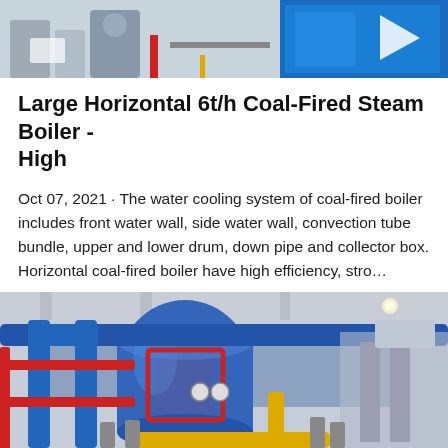[Figure (photo): Top partial image showing industrial boiler equipment with Chinese signage, blue background with equipment components visible]
Large Horizontal 6t/h Coal-Fired Steam Boiler - High
Oct 07, 2021 · The water cooling system of coal-fired boiler includes front water wall, side water wall, convection tube bundle, upper and lower drum, down pipe and collector box. Horizontal coal-fired boiler have high efficiency, stro…
[Figure (photo): Industrial boiler room interior showing large blue cylindrical boiler with red and blue piping, yellow gas pipe at bottom, mounted in industrial facility with white ceiling]